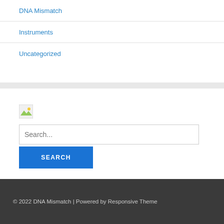DNA Mismatch
Instruments
Uncategorized
[Figure (illustration): Broken image placeholder icon with mountain/landscape graphic]
Search...
SEARCH
© 2022 DNA Mismatch | Powered by Responsive Theme